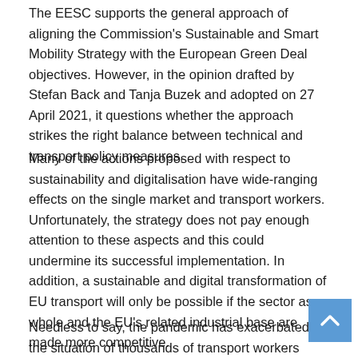The EESC supports the general approach of aligning the Commission's Sustainable and Smart Mobility Strategy with the European Green Deal objectives. However, in the opinion drafted by Stefan Back and Tanja Buzek and adopted on 27 April 2021, it questions whether the approach strikes the right balance between technical and transport policy measures.
Many of the actions proposed with respect to sustainability and digitalisation have wide-ranging effects on the single market and transport workers. Unfortunately, the strategy does not pay enough attention to these aspects and this could undermine its successful implementation. In addition, a sustainable and digital transformation of EU transport will only be possible if the sector as a whole and the EU's related industrial base are made more competitive.
Needless to say, the pandemic has exacerbated the situation of thousands of transport workers across Europe. They are